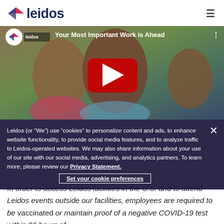leidos
[Figure (screenshot): YouTube video thumbnail showing three smiling people outdoors. Video title: 'Your Most Important Work is Ahead'. Leidos logo badge in top-left. Red YouTube play button in center. Three-dot menu in top-right.]
Leidos (or “We”) use “cookies” to personalize content and ads, to enhance website functionality, to provide social media features, and to analyze traffic to Leidos-operated websites. We may also share information about your use of our site with our social media, advertising, and analytics partners. To learn more, please review our Privacy Statement.
Set your cookie preferences
COVID Response
In order to access Leidos facilities in the U.S. and to attend Leidos events outside our facilities, employees are required to be vaccinated or maintain proof of a negative COVID-19 test within 96 hours of